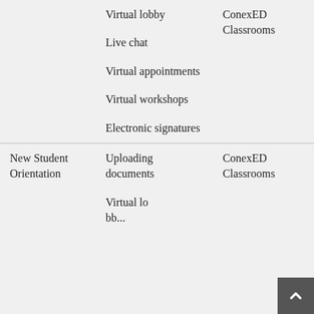|  | Features | Platform |
| --- | --- | --- |
|  | Virtual lobby
Live chat
Virtual appointments
Virtual workshops
Electronic signatures | ConexED Classrooms |
| New Student Orientation | Uploading documents
Virtual lo... | ConexED Classrooms |